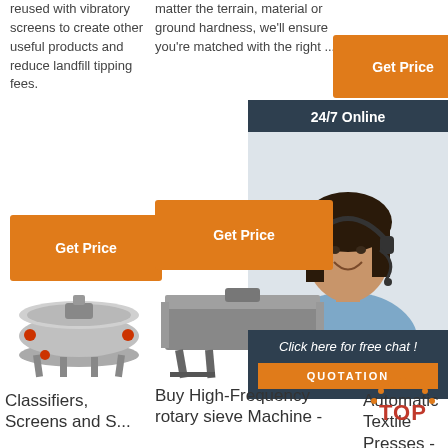reused with vibratory screens to create other useful products and reduce landfill tipping fees.
matter the terrain, material or ground hardness, we'll ensure you're matched with the right ...
[Figure (other): Orange 'Get Price' button (top right)]
[Figure (other): Dark panel with '24/7 Online' header and customer service representative photo]
[Figure (other): Orange 'Get Price' button (left column)]
[Figure (other): Orange 'Get Price' button (center column)]
[Figure (photo): Circular vibratory screen/classifier machine with red accents]
[Figure (photo): Rectangular linear vibratory screen machine]
[Figure (photo): Partial view of another machine (right side)]
[Figure (other): Dark panel bottom: 'Click here for free chat!' with QUOTATION button]
Classifiers, Screens and S...
Buy High-Frequency rotary sieve Machine -
Automatic Textile Presses -
[Figure (logo): TOP logo with orange dots]